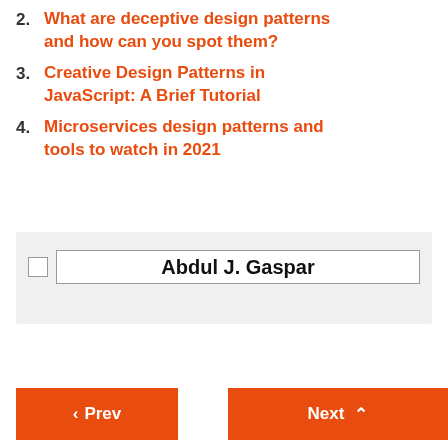2. What are deceptive design patterns and how can you spot them?
3. Creative Design Patterns in JavaScript: A Brief Tutorial
4. Microservices design patterns and tools to watch in 2021
[Figure (other): Author search box with checkbox and text field showing 'Abdul J. Gaspar' on a light gray background]
< Prev   Next ^